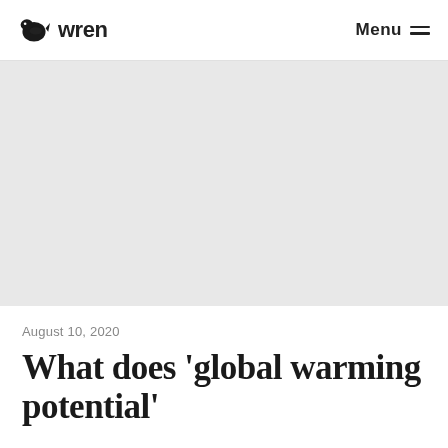wren   Menu
[Figure (photo): Large gray placeholder hero image area]
August 10, 2020
What does 'global warming potential'